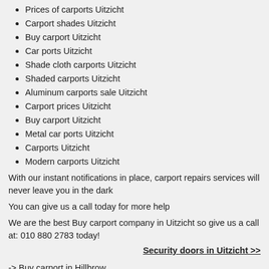Prices of carports Uitzicht
Carport shades Uitzicht
Buy carport Uitzicht
Car ports Uitzicht
Shade cloth carports Uitzicht
Shaded carports Uitzicht
Aluminum carports sale Uitzicht
Carport prices Uitzicht
Buy carport Uitzicht
Metal car ports Uitzicht
Carports Uitzicht
Modern carports Uitzicht
With our instant notifications in place, carport repairs services will never leave you in the dark
You can give us a call today for more help
We are the best Buy carport company in Uitzicht so give us a call at: 010 880 2783 today!
Security doors in Uitzicht >>
-> Buy carport in Hillbrow
-> Buy carport in Riepen Park
-> Buy carport in Wierda Crest
-> Buy carport in Presas